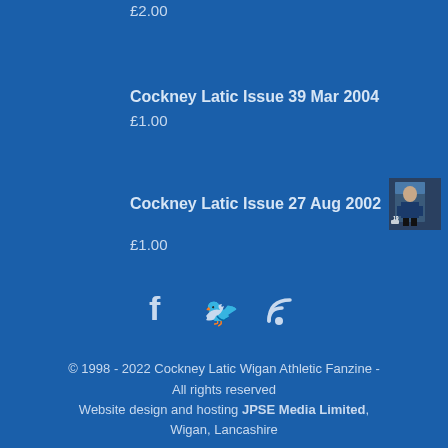£2.00
Cockney Latic Issue 39 Mar 2004
£1.00
Cockney Latic Issue 27 Aug 2002
£1.00
[Figure (photo): Small thumbnail image of Cockney Latic Issue 27 Aug 2002 fanzine cover showing a footballer]
[Figure (infographic): Social media icons: Facebook (f), Twitter (bird), RSS feed icons in a row]
© 1998 - 2022 Cockney Latic Wigan Athletic Fanzine - All rights reserved
Website design and hosting JPSE Media Limited, Wigan, Lancashire